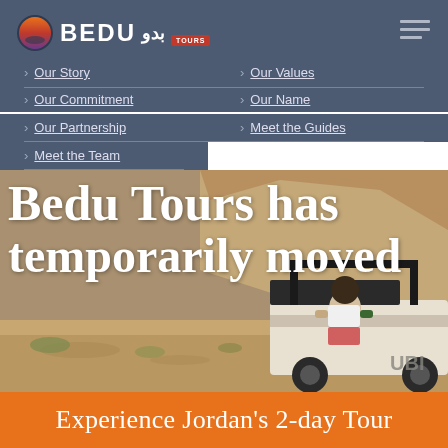BEDU بدو TOURS
Our Story
Our Values
Our Commitment
Our Name
Our Partnership
Meet the Guides
Meet the Team
[Figure (photo): Person in Bedu Tours t-shirt sitting on back of a jeep vehicle in desert landscape with cliff formation in background]
Bedu Tours has temporarily moved
Experience Jordan's 2-day Tour